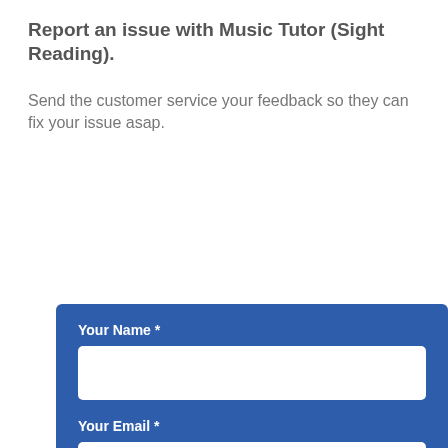Report an issue with Music Tutor (Sight Reading).
Send the customer service your feedback so they can fix your issue asap.
[Figure (screenshot): A blue form panel with two input fields labeled 'Your Name *' and 'Your Email *', and a green 'Next' button with a right-arrow circle icon.]